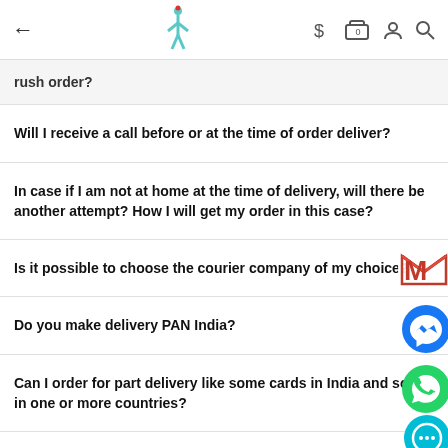← [logo] $ [bag] 0 [person] [search]
rush order?
Will I receive a call before or at the time of order deliver?
In case if I am not at home at the time of delivery, will there be another attempt? How I will get my order in this case?
Is it possible to choose the courier company of my choice?
Do you make delivery PAN India?
Can I order for part delivery like some cards in India and some in one or more countries?
Can I mark the parcel as personal gift?